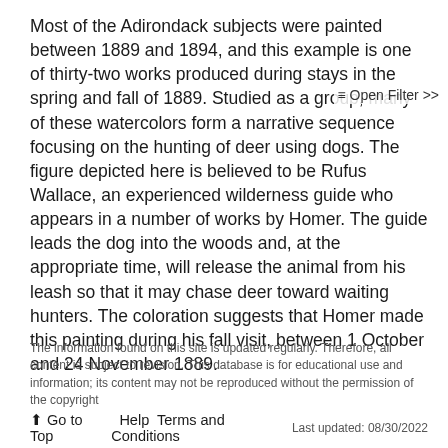Most of the Adirondack subjects were painted between 1889 and 1894, and this example is one of thirty-two works produced during stays in the spring and fall of 1889. Studied as a group, many of these watercolors form a narrative sequence focusing on the hunting of deer using dogs. The figure depicted here is believed to be Rufus Wallace, an experienced wilderness guide who appears in a number of works by Homer. The guide leads the dog into the woods and, at the appropriate time, will release the animal from his leash so that it may chase deer toward waiting hunters. The coloration suggests that Homer made this painting during his fall visit, between 1 October and 24 November 1889.
≡ Open Filter >>
The information found on this site is updated regularly. Therefore, all content is subject to revision. This database is for educational use and information; its content may not be reproduced without the permission of the copyright
🠕 Go to Top   Help   Terms and Conditions   Last updated: 08/30/2022